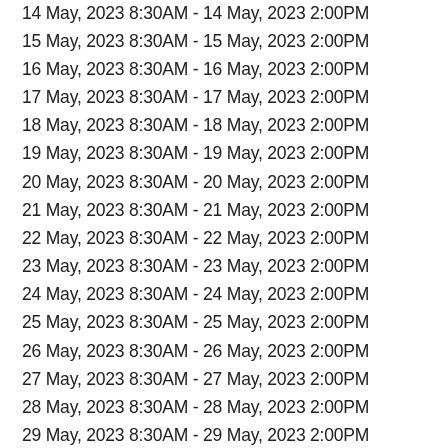14 May, 2023 8:30AM - 14 May, 2023 2:00PM
15 May, 2023 8:30AM - 15 May, 2023 2:00PM
16 May, 2023 8:30AM - 16 May, 2023 2:00PM
17 May, 2023 8:30AM - 17 May, 2023 2:00PM
18 May, 2023 8:30AM - 18 May, 2023 2:00PM
19 May, 2023 8:30AM - 19 May, 2023 2:00PM
20 May, 2023 8:30AM - 20 May, 2023 2:00PM
21 May, 2023 8:30AM - 21 May, 2023 2:00PM
22 May, 2023 8:30AM - 22 May, 2023 2:00PM
23 May, 2023 8:30AM - 23 May, 2023 2:00PM
24 May, 2023 8:30AM - 24 May, 2023 2:00PM
25 May, 2023 8:30AM - 25 May, 2023 2:00PM
26 May, 2023 8:30AM - 26 May, 2023 2:00PM
27 May, 2023 8:30AM - 27 May, 2023 2:00PM
28 May, 2023 8:30AM - 28 May, 2023 2:00PM
29 May, 2023 8:30AM - 29 May, 2023 2:00PM
30 May, 2023 8:30AM - 30 May, 2023 2:00PM
31 May, 2023 8:30AM - 31 May, 2023 2:00PM
1 Jun, 2023 8:30AM - 1 Jun, 2023 2:00PM
2 Jun, 2023 8:30AM - 2 Jun, 2023 2:00PM
3 Jun, 2023 8:30AM - 3 Jun, 2023 2:00PM